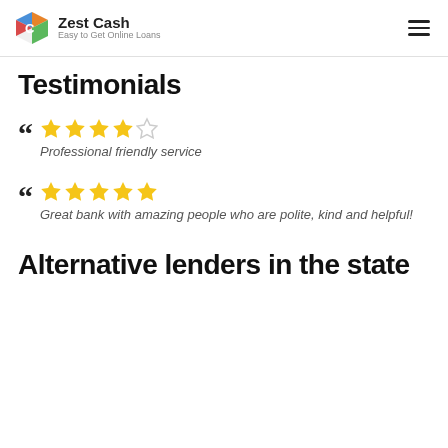Zest Cash — Easy to Get Online Loans
Testimonials
" ★★★★☆ Professional friendly service
" ★★★★★ Great bank with amazing people who are polite, kind and helpful!
Alternative lenders in the state